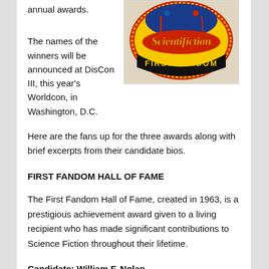annual awards.
[Figure (illustration): A circular embroidered patch with yellow background, red text reading 'Scientifiction' in script, black text 'FIRST FANDOM' along the bottom, and figures at the top.]
The names of the winners will be announced at DisCon III, this year's Worldcon, in Washington, D.C.
Here are the fans up for the three awards along with brief excerpts from their candidate bios.
FIRST FANDOM HALL OF FAME
The First Fandom Hall of Fame, created in 1963, is a prestigious achievement award given to a living recipient who has made significant contributions to Science Fiction throughout their lifetime.
Candidate: William F. Nolan
According to...